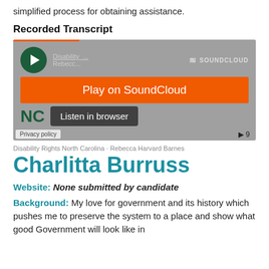simplified process for obtaining assistance.
Recorded Transcript
[Figure (screenshot): SoundCloud embedded audio player widget showing NC Disability Rights recording with Play on SoundCloud button and Listen in browser button]
Disability Rights North Carolina · Rebecca Harvard Barnes
Charlitta Burruss
Website: None submitted by candidate
Background: My love for government and its history which pushes me to preserve the system to a place and show what good Government will look like in